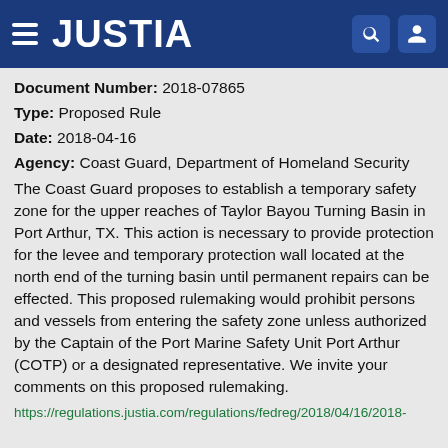JUSTIA
Document Number: 2018-07865
Type: Proposed Rule
Date: 2018-04-16
Agency: Coast Guard, Department of Homeland Security
The Coast Guard proposes to establish a temporary safety zone for the upper reaches of Taylor Bayou Turning Basin in Port Arthur, TX. This action is necessary to provide protection for the levee and temporary protection wall located at the north end of the turning basin until permanent repairs can be effected. This proposed rulemaking would prohibit persons and vessels from entering the safety zone unless authorized by the Captain of the Port Marine Safety Unit Port Arthur (COTP) or a designated representative. We invite your comments on this proposed rulemaking.
https://regulations.justia.com/regulations/fedreg/2018/04/16/2018-